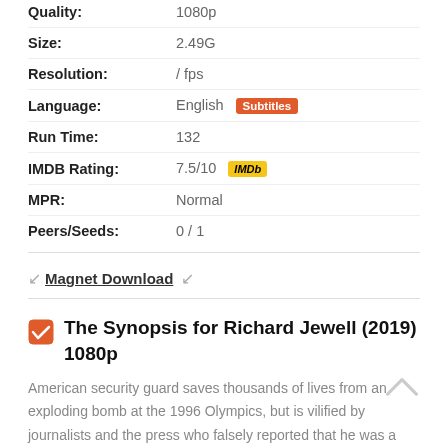Quality: 1080p
Size: 2.49G
Resolution: / fps
Language: English [Subtitles badge]
Run Time: 132
IMDB Rating: 7.5/10 [IMDb badge]
MPR: Normal
Peers/Seeds: 0 / 1
Magnet Download
The Synopsis for Richard Jewell (2019) 1080p
American security guard saves thousands of lives from an exploding bomb at the 1996 Olympics, but is vilified by journalists and the press who falsely reported that he was a terrorist.
The Director and Players for Richard Jewell